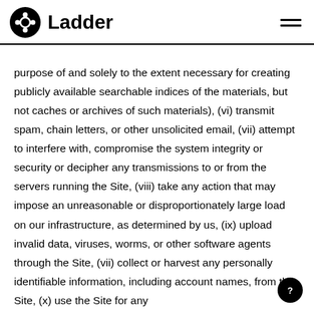Ladder
purpose of and solely to the extent necessary for creating publicly available searchable indices of the materials, but not caches or archives of such materials), (vi) transmit spam, chain letters, or other unsolicited email, (vii) attempt to interfere with, compromise the system integrity or security or decipher any transmissions to or from the servers running the Site, (viii) take any action that may impose an unreasonable or disproportionately large load on our infrastructure, as determined by us, (ix) upload invalid data, viruses, worms, or other software agents through the Site, (vii) collect or harvest any personally identifiable information, including account names, from the Site, (x) use the Site for any